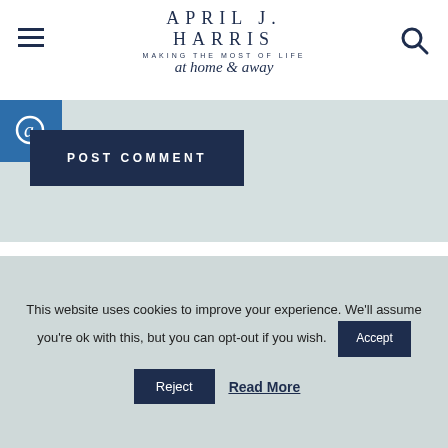APRIL J. HARRIS MAKING THE MOST OF LIFE at home & away
[Figure (screenshot): Blue comment icon and POST COMMENT button on light teal background]
This site uses Akismet to reduce spam. Learn how your comment data is processed.
COMMENTS & REVIEWS
This website uses cookies to improve your experience. We'll assume you're ok with this, but you can opt-out if you wish. Accept Reject Read More